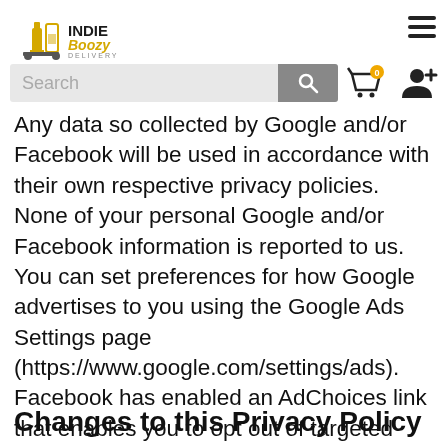Indie Boozy Delivery — navigation header with search bar, cart, and user icons
Any data so collected by Google and/or Facebook will be used in accordance with their own respective privacy policies. None of your personal Google and/or Facebook information is reported to us. You can set preferences for how Google advertises to you using the Google Ads Settings page (https://www.google.com/settings/ads). Facebook has enabled an AdChoices link that enables you to opt out of targeted advertising.
Changes to this Privacy Policy